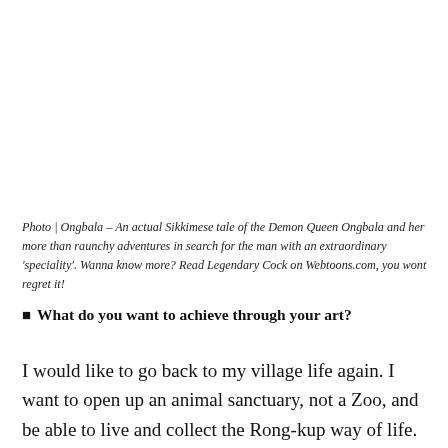Photo | Ongbala – An actual Sikkimese tale of the Demon Queen Ongbala and her more than raunchy adventures in search for the man with an extraordinary 'speciality'. Wanna know more? Read Legendary Cock on Webtoons.com, you wont regret it!
What do you want to achieve through your art?
I would like to go back to my village life again. I want to open up an animal sanctuary, not a Zoo, and be able to live and collect the Rong-kup way of life.